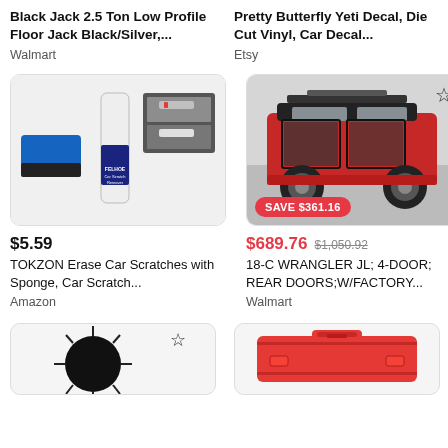Black Jack 2.5 Ton Low Profile Floor Jack Black/Silver,...
Walmart
Pretty Butterfly Yeti Decal, Die Cut Vinyl, Car Decal...
Etsy
[Figure (photo): FELHOE Car Scratch Remover product with sponge applicator and before/after photos]
$5.59
TOKZON Erase Car Scratches with Sponge, Car Scratch...
Amazon
[Figure (photo): Red and black Jeep Wrangler JL 4-door with factory rear doors removed, side view]
SAVE $361.16
$689.76 $1,050.92
18-C WRANGLER JL; 4-DOOR; REAR DOORS;W/FACTORY...
Walmart
[Figure (photo): Black circular brush product with star icon]
[Figure (photo): Red tool case/box]